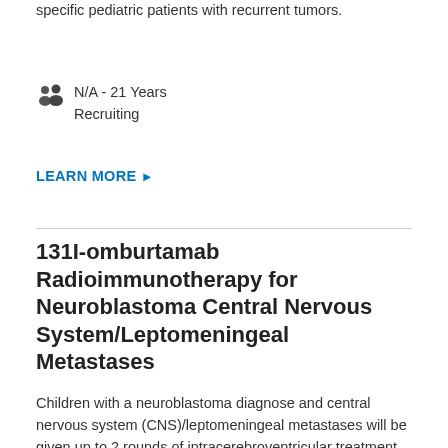specific pediatric patients with recurrent tumors.
N/A - 21 Years
Recruiting
LEARN MORE ►
131I-omburtamab Radioimmunotherapy for Neuroblastoma Central Nervous System/Leptomeningeal Metastases
Children with a neuroblastoma diagnose and central nervous system (CNS)/leptomeningeal metastases will be given up to 2 rounds of intracerebroventricular treatment with a radiolabelled monoclonal antibody, 131I-omburtamab to evaluate efficacy and safety